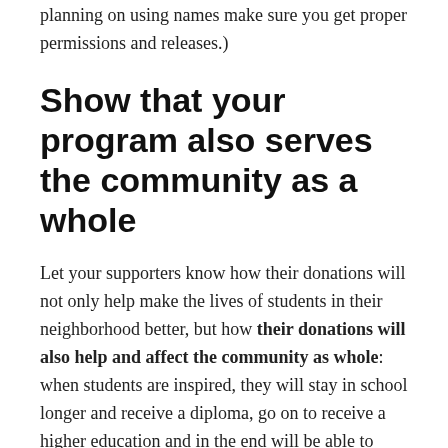planning on using names make sure you get proper permissions and releases.)
Show that your program also serves the community as a whole
Let your supporters know how their donations will not only help make the lives of students in their neighborhood better, but how their donations will also help and affect the community as whole: when students are inspired, they will stay in school longer and receive a diploma, go on to receive a higher education and in the end will be able to contribute to your community in a positive way. At this point, bli...